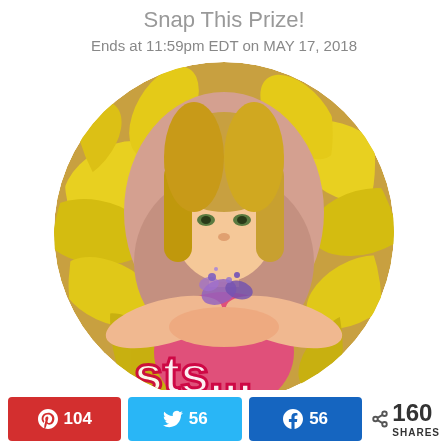Snap This Prize!
Ends at 11:59pm EDT on MAY 17, 2018
[Figure (photo): Circular photo of a woman blowing purple confetti/flowers surrounded by large yellow chrysanthemum flowers, with stylized text overlay at bottom]
104  56  160 SHARES